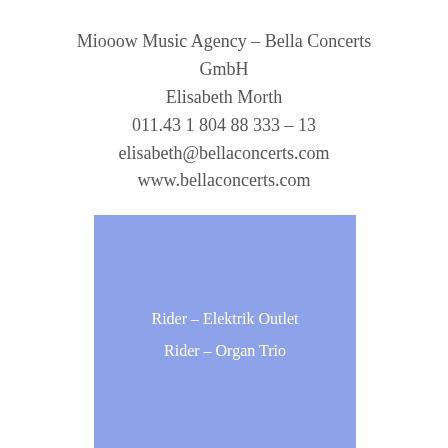Miooow Music Agency – Bella Concerts GmbH
Elisabeth Morth
011.43 1 804 88 333 – 13
elisabeth@bellaconcerts.com
www.bellaconcerts.com
[Figure (other): Blue/periwinkle colored rectangle containing white text: 'Rider – Elektrik Outlet' and 'Rider – Organ Trio']